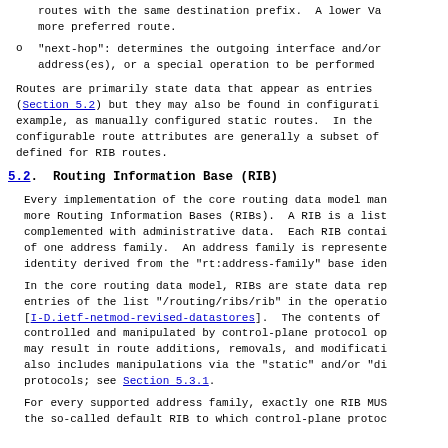routes with the same destination prefix. A lower Va more preferred route.
"next-hop": determines the outgoing interface and/or address(es), or a special operation to be performed
Routes are primarily state data that appear as entries (Section 5.2) but they may also be found in configurati example, as manually configured static routes. In the configurable route attributes are generally a subset of defined for RIB routes.
5.2. Routing Information Base (RIB)
Every implementation of the core routing data model man more Routing Information Bases (RIBs). A RIB is a list complemented with administrative data. Each RIB contai of one address family. An address family is represente identity derived from the "rt:address-family" base iden
In the core routing data model, RIBs are state data rep entries of the list "/routing/ribs/rib" in the operatio [I-D.ietf-netmod-revised-datastores]. The contents of controlled and manipulated by control-plane protocol op may result in route additions, removals, and modificati also includes manipulations via the "static" and/or "di protocols; see Section 5.3.1.
For every supported address family, exactly one RIB MUS the so-called default RIB to which control-plane protoc